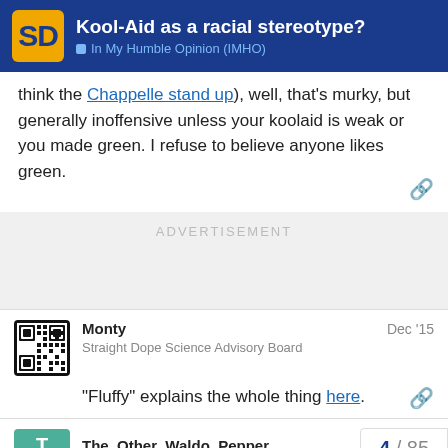Kool-Aid as a racial stereotype? | In My Humble Opinion (IMHO)
think the Chappelle stand up), well, that's murky, but generally inoffensive unless your koolaid is weak or you made green. I refuse to believe anyone likes green.
ADVERTISEMENT
Monty | Straight Dope Science Advisory Board | Dec '15
“Fluffy” explains the whole thing here.
The_Other_Waldo_Pepper
4 / 85